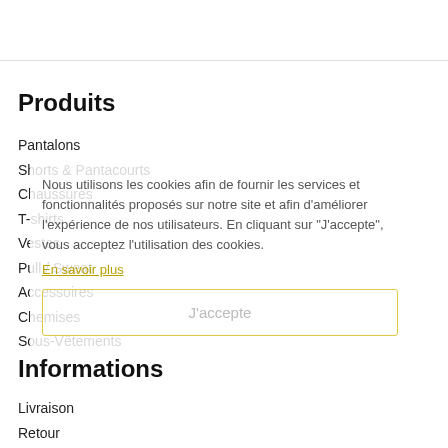Produits
Pantalons
Shorts & Pantacourts
Chaussures
T-shirts
Vestes
Pull / Sweat
Accessoires
Chemises
Sous-Vêtements
Nous utilisons les cookies afin de fournir les services et fonctionnalités proposés sur notre site et afin d'améliorer l'expérience de nos utilisateurs. En cliquant sur "J'accepte", vous acceptez l'utilisation des cookies.
En savoir plus
J'accepte
Informations
Livraison
Retour